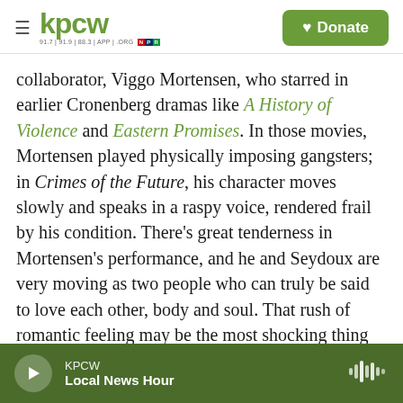kpcw — Donate
collaborator, Viggo Mortensen, who starred in earlier Cronenberg dramas like A History of Violence and Eastern Promises. In those movies, Mortensen played physically imposing gangsters; in Crimes of the Future, his character moves slowly and speaks in a raspy voice, rendered frail by his condition. There's great tenderness in Mortensen's performance, and he and Seydoux are very moving as two people who can truly be said to love each other, body and soul. That rush of romantic feeling may be the most shocking thing about Crimes of the Future: For all its blood and guts, this movie's biggest organ is its heart.
KPCW — Local News Hour